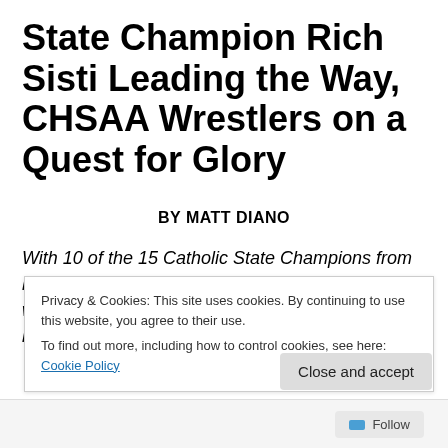State Champion Rich Sisti Leading the Way, CHSAA Wrestlers on a Quest for Glory
BY MATT DIANO
With 10 of the 15 Catholic State Champions from last season having moved on, 2014 marks a year where the opportunity will be there for some new names and faces to
Privacy & Cookies: This site uses cookies. By continuing to use this website, you agree to their use.
To find out more, including how to control cookies, see here: Cookie Policy